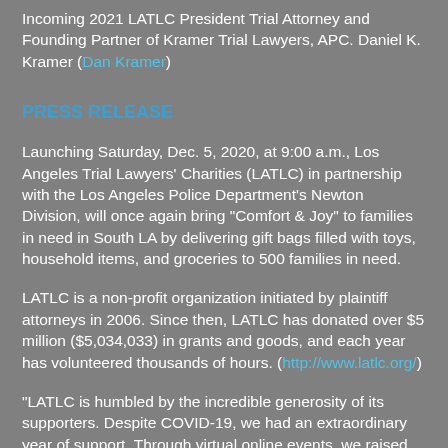Incoming 2021 LATLC President Trial Attorney and Founding Partner of Kramer Trial Lawyers, APC. Daniel K. Kramer (Dan Kramer)
PRESS RELEASE
Launching Saturday, Dec. 5, 2020, at 9:00 a.m., Los Angeles Trial Lawyers' Charities (LATLC) in partnership with the Los Angeles Police Department's Newton Division, will once again bring "Comfort & Joy" to families in need in South LA by delivering gift bags filled with toys, household items, and groceries to 500 families in need.
LATLC is a non-profit organization initiated by plaintiff attorneys in 2006. Since then, LATLC has donated over $5 million ($5,034,033) in grants and goods, and each year has volunteered thousands of hours. (http://www.latlc.org/)
"LATLC is humbled by the incredible generosity of its supporters. Despite COVID-19, we had an extraordinary year of support. Through virtual online events, we raised